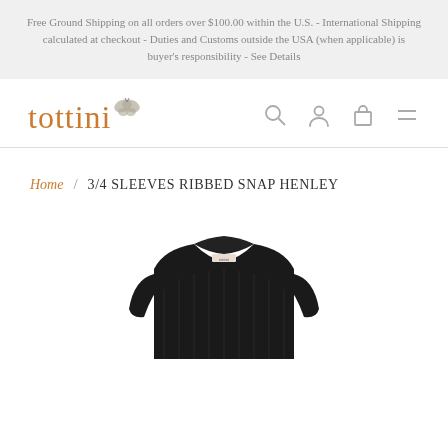Free Ground Shipping on all orders over $100.00 within the U.S. - International Shipping calculated at checkout - Duties and Customs outside the USA (when applicable) is buyer's responsibility - See Details
[Figure (logo): Tottini logo with butterfly icon and orange text 'tottini', alongside navigation icons for search, account, cart, and menu]
Home / 3/4 SLEEVES RIBBED SNAP HENLEY
[Figure (photo): Partial product photo showing top portion of a black ribbed knit 3/4 sleeves henley sweater with a small tottini label visible at the neckline]